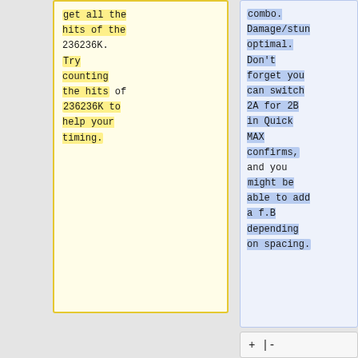get all the hits of the 236236K. Try counting the hits of 236236K to help your timing.
combo. Damage/stun optimal. Don't forget you can switch 2A for 2B in Quick MAX confirms, and you might be able to add a f.B depending on spacing.
+ |-
| ''(QM)'' '''Light Starter''' > BC cl.C